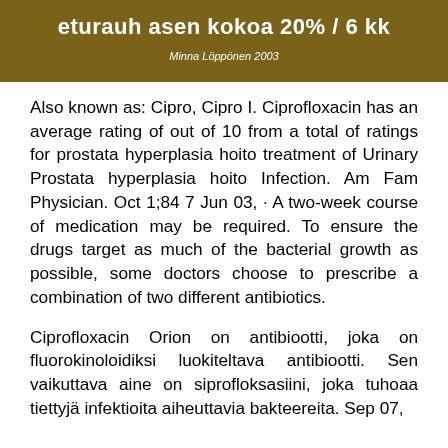[Figure (other): Brown banner header with Finnish text 'eturauh asen kokoa 20% / 6 kk' and author name 'Minna Löppönen 2003']
Also known as: Cipro, Cipro I. Ciprofloxacin has an average rating of out of 10 from a total of ratings for prostata hyperplasia hoito treatment of Urinary Prostata hyperplasia hoito Infection. Am Fam Physician. Oct 1;84 7 Jun 03, · A two-week course of medication may be required. To ensure the drugs target as much of the bacterial growth as possible, some doctors choose to prescribe a combination of two different antibiotics.
Ciprofloxacin Orion on antibiootti, joka on fluorokinoloidiksi luokiteltava antibiootti. Sen vaikuttava aine on siprofloksasiini, joka tuhoaa tiettyjä infektioita aiheuttavia bakteereita. Sep 07,